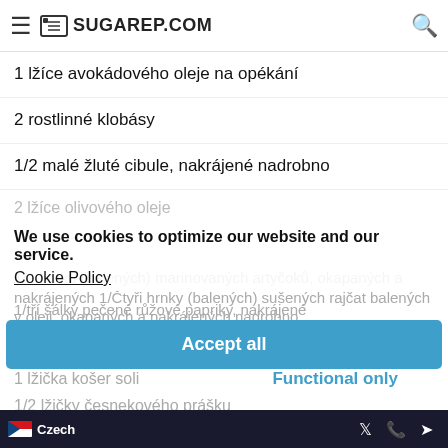SUGAREP.COM
1 lžíce avokádového oleje na opékání
2 rostlinné klobásy
1/2 malé žluté cibule, nakrájené nadrobno
2 lžíce olivového oleje
We use cookies to optimize our website and our service.
Cookie Policy
1/2 hrnku (balených) marinovaných artyčoků, okapaných a nakrájených 1/Čtyři hrnky (balených) sušených rajčat balených v oleji, okapaných a nakrájených nadrobno
1/tří šálky pečené růžové papriky, nakrájené
1/Čtyři šálky tučné smetany bez mléčných výrobků 1/2 šálku omáčky marinara
1 lžička košer soli
1/2 lžičky česnekového prášku
1/2 šálku vařeného hrášku
Šťáva z 1/4 až 1/2 citronu, na úpravu
Accept all
Functional only
View preferences
Czech